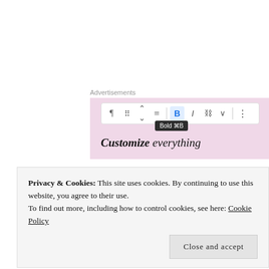Advertisements
[Figure (screenshot): WordPress block editor toolbar screenshot showing formatting icons (paragraph, list, up/down, align, Bold, Italic, link, more) with a tooltip reading 'Bold ⌘B', over a pink background with partial text 'Customize everything']
[Figure (photo): Interior photo of a kitchen or hallway with white cabinets, rustic brick wall on the left, dark wooden ceiling beam, and a pendant light on the right]
Privacy & Cookies: This site uses cookies. By continuing to use this website, you agree to their use.
To find out more, including how to control cookies, see here: Cookie Policy
Close and accept